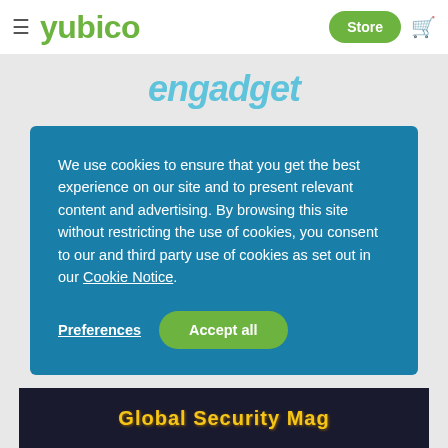yubico — Store
[Figure (logo): engadget logo in teal/cyan color on white card background]
We use cookies to ensure that you get the best experience on our site and to present relevant content and advertising. By browsing this site without restricting the use of cookies, you consent to our and third party use of cookies as set out in our Cookie Notice.
[Figure (screenshot): Global Security Mag banner text in gold/yellow with dark background, bottom of page]